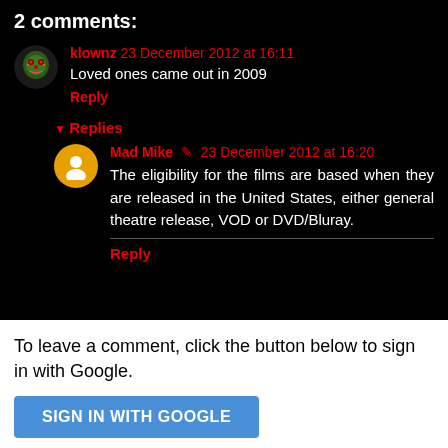2 comments:
klownz 23 December 2012 at 16:11
Loved ones came out in 2009
Reply
Replies
Mad Mike 23 December 2012 at 16:20
The eligibility for the films are based when they are released in the United States, either general theatre release, VOD or DVD/Bluray.
Reply
To leave a comment, click the button below to sign in with Google.
SIGN IN WITH GOOGLE